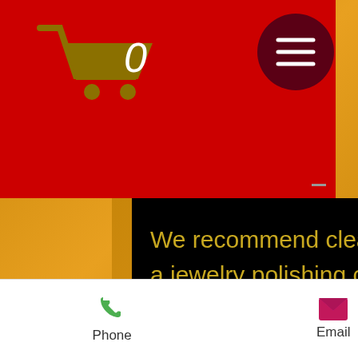[Figure (screenshot): Red header bar with shopping cart icon showing '0' items and a dark red hamburger menu circle button]
We recommend cleaning your piece with a jewelry polishing cloth.  We sell polishing cloths in our shop!  Pick one up with your order today!
Phone   Email   Facebook